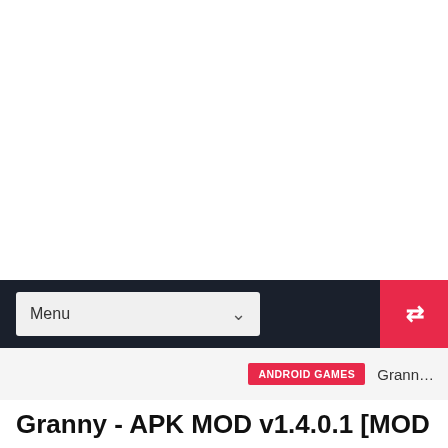[Figure (screenshot): White empty space representing the upper portion of a webpage]
Menu (dropdown) | shuffle button
ANDROID GAMES  Granny
Granny - APK MOD v1.4.0.1 [MOD MENU